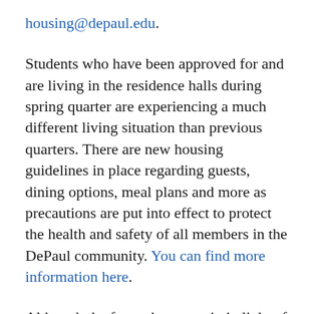housing@depaul.edu.
Students who have been approved for and are living in the residence halls during spring quarter are experiencing a much different living situation than previous quarters. There are new housing guidelines in place regarding guests, dining options, meal plans and more as precautions are put into effect to protect the health and safety of all members in the DePaul community. You can find more information here.
Although the future is uncertain in light of the COVID-19 crisis, we are moving ahead with the fall